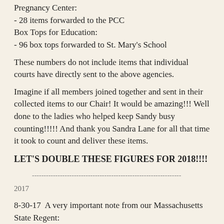Pregnancy Center:
- 28 items forwarded to the PCC
Box Tops for Education:
- 96 box tops forwarded to St. Mary's School
These numbers do not include items that individual courts have directly sent to the above agencies.
Imagine if all members joined together and sent in their collected items to our Chair! It would be amazing!!! Well done to the ladies who helped keep Sandy busy counting!!!!! And thank you Sandra Lane for all that time it took to count and deliver these items.
LET'S DOUBLE THESE FIGURES FOR 2018!!!!
----------------------------------------------------------------
2017
8-30-17  A very important note from our Massachusetts State Regent:
Dear Catholic Daughters,
Please consider making a donation to this special disaster relief need for those impacted by Hurricane Harvey. If you wish you may send your donation to Good Chile in 30 Saint Clements Road, Medford, MA